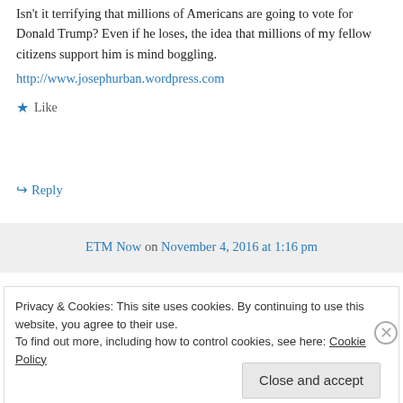Isn't it terrifying that millions of Americans are going to vote for Donald Trump? Even if he loses, the idea that millions of my fellow citizens support him is mind boggling.
http://www.josephurban.wordpress.com
★ Like
↳ Reply
ETM Now on November 4, 2016 at 1:16 pm
Privacy & Cookies: This site uses cookies. By continuing to use this website, you agree to their use.
To find out more, including how to control cookies, see here: Cookie Policy
Close and accept